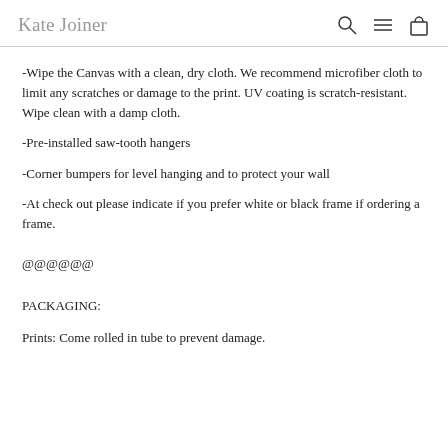Kate Joiner
-Wipe the Canvas with a clean, dry cloth. We recommend microfiber cloth to limit any scratches or damage to the print. UV coating is scratch-resistant. Wipe clean with a damp cloth.
-Pre-installed saw-tooth hangers
-Corner bumpers for level hanging and to protect your wall
-At check out please indicate if you prefer white or black frame if ordering a frame.
@@@@@@
PACKAGING:
Prints: Come rolled in tube to prevent damage.